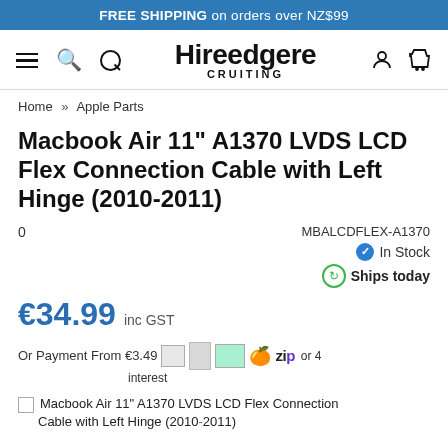FREE SHIPPING on orders over NZ$99
[Figure (logo): Hireedgere Cruiting store logo with hamburger menu, search icon, user icon, and cart icon]
Home » Apple Parts
Macbook Air 11" A1370 LVDS LCD Flex Connection Cable with Left Hinge (2010-2011)
0    MBALCDFLEX-A1370
✔ In Stock
Ships today
€34.99 inc GST
Or Payment From €3.49  or 4 interest
Macbook Air 11" A1370 LVDS LCD Flex Connection Cable with Left Hinge (2010-2011)